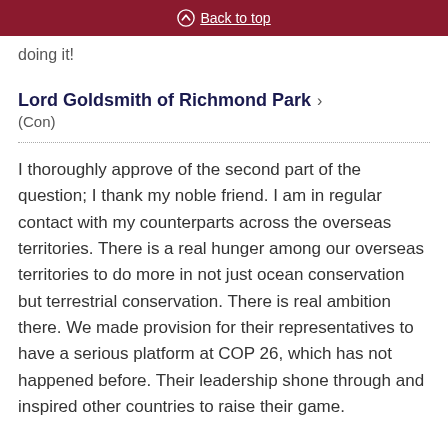Back to top
doing it!
Lord Goldsmith of Richmond Park >
(Con)
I thoroughly approve of the second part of the question; I thank my noble friend. I am in regular contact with my counterparts across the overseas territories. There is a real hunger among our overseas territories to do more in not just ocean conservation but terrestrial conservation. There is real ambition there. We made provision for their representatives to have a serious platform at COP 26, which has not happened before. Their leadership shone through and inspired other countries to raise their game.